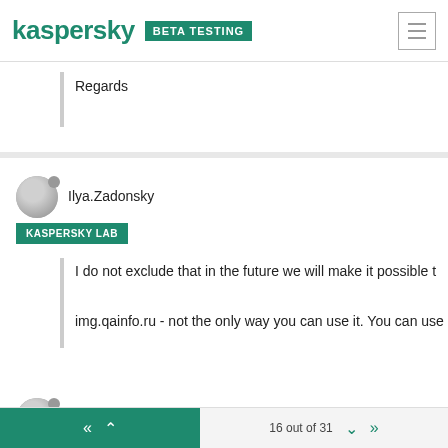kaspersky BETA TESTING
Regards
Ilya.Zadonsky
KASPERSKY LAB
I do not exclude that in the future we will make it possible t
img.qainfo.ru - not the only way you can use it. You can use
Ilya.Zadonsky
16 out of 31